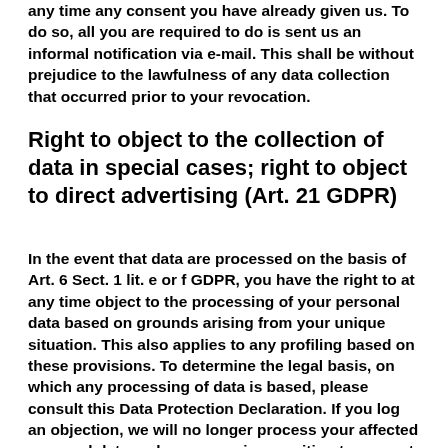any time any consent you have already given us. To do so, all you are required to do is sent us an informal notification via e-mail. This shall be without prejudice to the lawfulness of any data collection that occurred prior to your revocation.
Right to object to the collection of data in special cases; right to object to direct advertising (Art. 21 GDPR)
In the event that data are processed on the basis of Art. 6 Sect. 1 lit. e or f GDPR, you have the right to at any time object to the processing of your personal data based on grounds arising from your unique situation. This also applies to any profiling based on these provisions. To determine the legal basis, on which any processing of data is based, please consult this Data Protection Declaration. If you log an objection, we will no longer process your affected personal data, unless we are in a position to present compelling